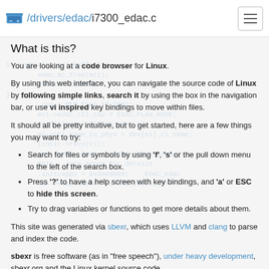/drivers/edac/i7300_edac.c
What is this?
You are looking at a code browser for Linux.
By using this web interface, you can navigate the source code of Linux by following simple links, search it by using the box in the navigation bar, or use vi inspired key bindings to move within files.
It should all be pretty intuitive, but to get started, here are a few things you may want to try:
Search for files or symbols by using 'f', 's' or the pull down menu to the left of the search box.
Press '?' to have a help screen with key bindings, and 'a' or ESC to hide this screen.
Try to drag variables or functions to get more details about them.
This site was generated via sbexr, which uses LLVM and clang to parse and index the code.
sbexr is free software (as in "free speech"), under heavy development, sbexr.org and the Linux kernel source code...